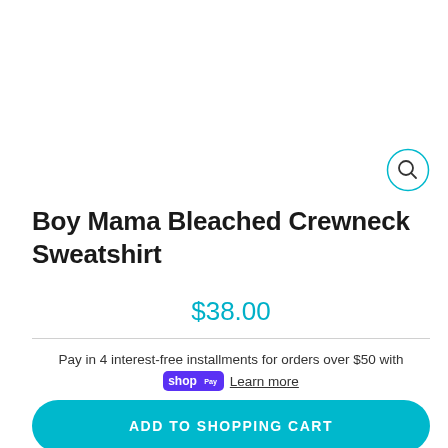[Figure (other): Circular search icon (magnifying glass) with teal outline, top right area]
Boy Mama Bleached Crewneck Sweatshirt
$38.00
Pay in 4 interest-free installments for orders over $50 with shop Pay Learn more
ADD TO SHOPPING CART